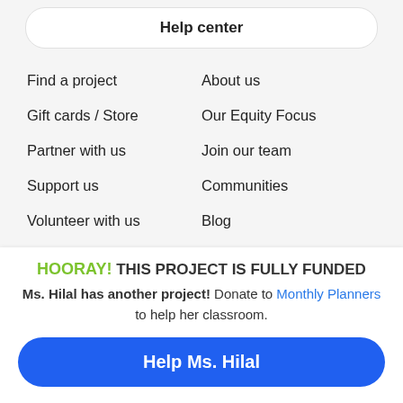Help center
Find a project
About us
Gift cards / Store
Our Equity Focus
Partner with us
Join our team
Support us
Communities
Volunteer with us
Blog
Design playground
Media info
HOORAY! THIS PROJECT IS FULLY FUNDED
Ms. Hilal has another project! Donate to Monthly Planners to help her classroom.
Help Ms. Hilal